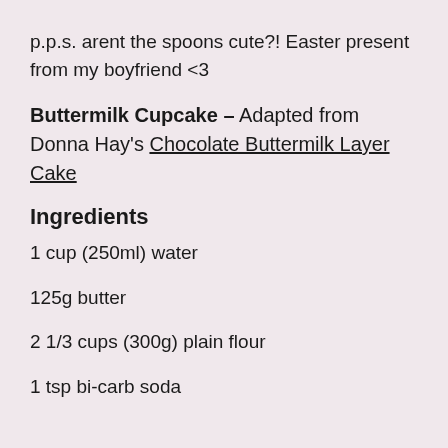p.p.s. arent the spoons cute?! Easter present from my boyfriend <3
Buttermilk Cupcake – Adapted from Donna Hay's Chocolate Buttermilk Layer Cake
Ingredients
1 cup (250ml) water
125g butter
2 1/3 cups (300g) plain flour
1 tsp bi-carb soda